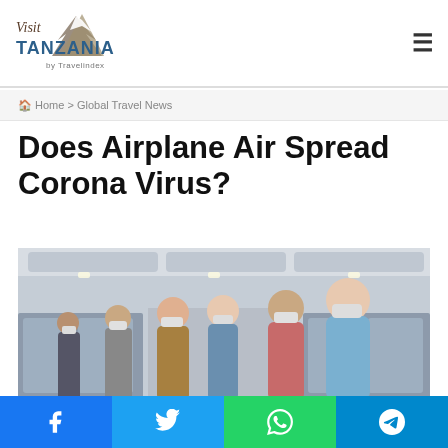Visit TANZANIA by Travelindex
Home > Global Travel News
Does Airplane Air Spread Corona Virus?
[Figure (photo): Passengers wearing face masks walking down the aisle of an airplane cabin]
Facebook | Twitter | WhatsApp | Telegram social share buttons